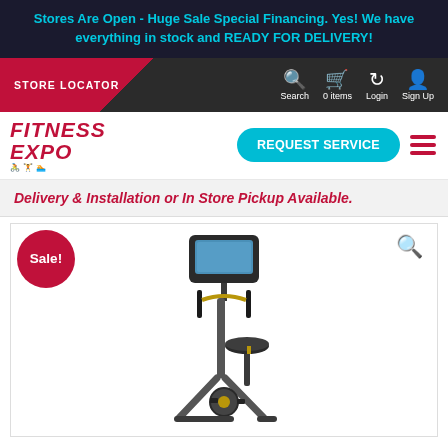Stores Are Open - Huge Sale Special Financing. Yes! We have everything in stock and READY FOR DELIVERY!
STORE LOCATOR
Search  0 items  Login  Sign Up
[Figure (logo): FITNESS EXPO logo in red italic bold text with blue subtitle icons]
REQUEST SERVICE
Delivery & Installation or In Store Pickup Available.
[Figure (photo): Exercise bike (upright stationary bike) with digital display console, handlebars, and seat shown on white background with a red Sale! badge]